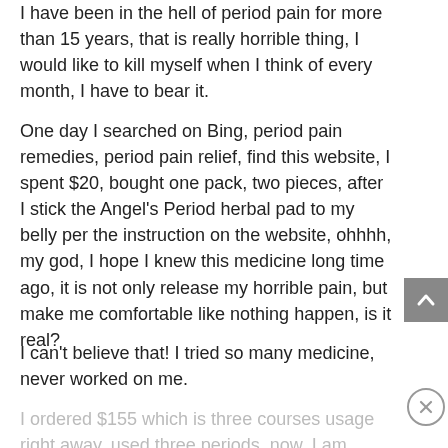I have been in the hell of period pain for more than 15 years, that is really horrible thing, I would like to kill myself when I think of every month, I have to bear it.
One day I searched on Bing, period pain remedies, period pain relief, find this website, I spent $20, bought one pack, two pieces, after I stick the Angel's Period herbal pad to my belly per the instruction on the website, ohhhh, my god, I hope I knew this medicine long time ago, it is not only release my horrible pain, but make me comfortable like nothing happen, is it real?
I can't believe that! I tried so many medicine, never worked on me.
I ordered $155 which is three courses usage right away, used three periods, now, I am happy like a man, I never even believe I had...